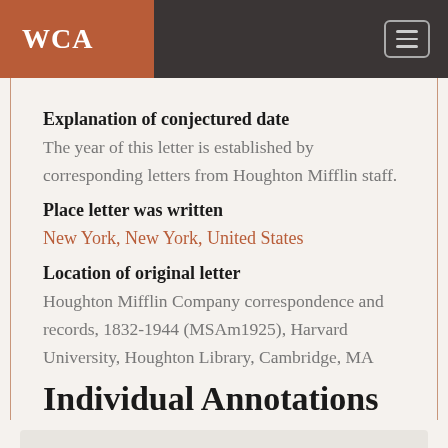WCA
Explanation of conjectured date
The year of this letter is established by corresponding letters from Houghton Mifflin staff.
Place letter was written
New York, New York, United States
Location of original letter
Houghton Mifflin Company correspondence and records, 1832-1944 (MSAm1925), Harvard University, Houghton Library, Cambridge, MA
Individual Annotations
5 Bank Street (New York City): The